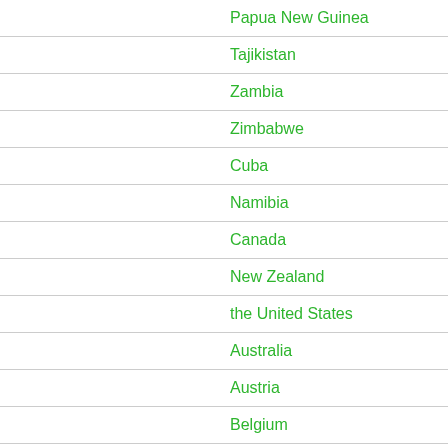Papua New Guinea
Tajikistan
Zambia
Zimbabwe
Cuba
Namibia
Canada
New Zealand
the United States
Australia
Austria
Belgium
Bulgaria
Croatia
Cyprus